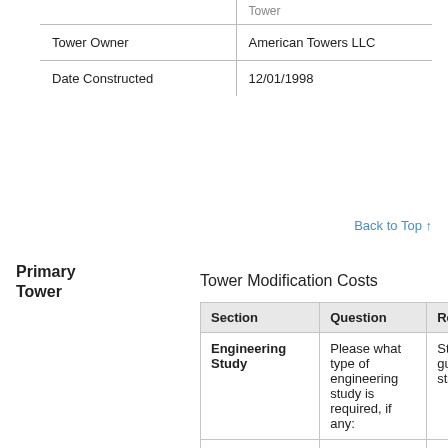|  | Tower |
| --- | --- |
| Tower Owner | American Towers LLC |
| Date Constructed | 12/01/1998 |
Back to Top ↑
Primary Tower
Tower Modification Costs
| Section | Question | Response |
| --- | --- | --- |
| Engineering Study | Please what type of engineering study is required, if any: | Study need for guyed or free-standing tower |
| Tower Reinforcements | Please select whether tower reinforcements are: | No reinforcements |